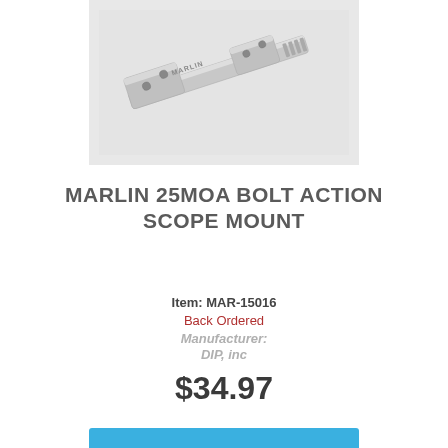[Figure (photo): Silver aluminum Marlin 25MOA bolt action scope mount rail, shown at an angle on a light gray background]
MARLIN 25MOA BOLT ACTION SCOPE MOUNT
Item: MAR-15016
Back Ordered
Manufacturer:
DIP, inc
$34.97